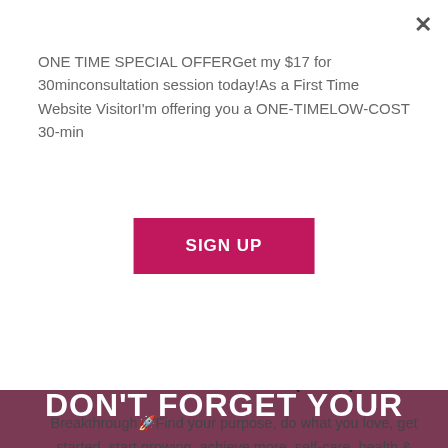ONE TIME SPECIAL OFFERGet my $17 for 30minconsultation session today!As a First Time Website VisitorI'm offering you a ONE-TIMELOW-COST 30-min
SIGN UP
BE YOUR OWN BOSS (BYOB)
Breakthrough🚀Find your purpose, do what you love, get started, start growing, achieve more, self-care, health & fitness
DON'T FORGET YOUR